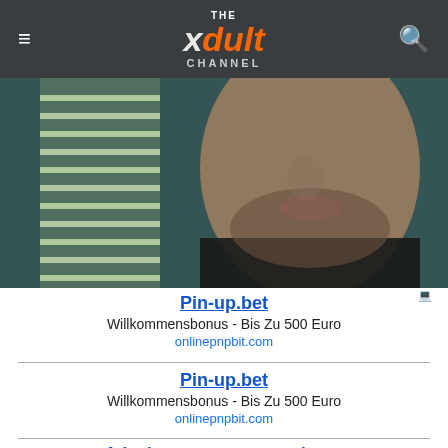THE xdult CHANNEL
[Figure (photo): Close-up photo of a man's lower face with stubble beard, partially obscured by window blinds, teal/dark background]
[Figure (other): Ad block 1: Pin-up.bet - Willkommensbonus - Bis Zu 500 Euro - onlinepnpbit.com]
[Figure (other): Ad block 2: Pin-up.bet - Willkommensbonus - Bis Zu 500 Euro - onlinepnpbit.com]
[Figure (other): Ad block 3: Ads that respect your privacy - Earn bitcoins or advertise your business]